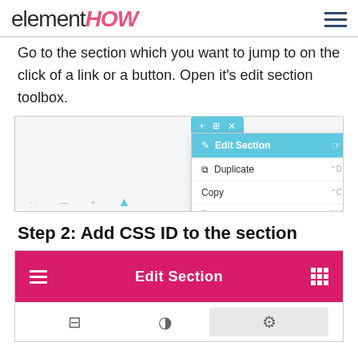elementHOW
Go to the section which you want to jump to on the click of a link or a button. Open it's edit section toolbox.
[Figure (screenshot): Screenshot showing Elementor editor context menu with 'Edit Section' highlighted in blue, along with options for Duplicate, Copy, and Paste. A hand/pointer cursor is visible.]
Step 2: Add CSS ID to the section
[Figure (screenshot): Screenshot showing the Elementor 'Edit Section' toolbar in pink/magenta color with hamburger icon on left, 'Edit Section' title in center, and grid icon on right. Below are icons for layout options, with the third (settings gear) highlighted in grey.]